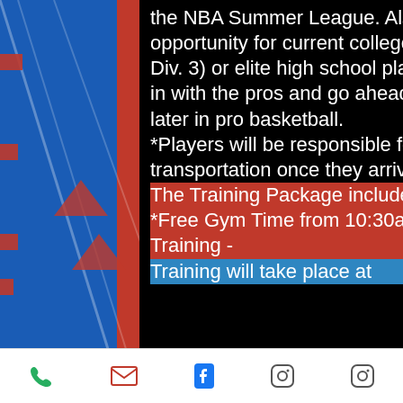the NBA Summer League. Also this is a great opportunity for current college players (NAIA, Div. 2, or Div. 3) or elite high school players wanting to get work in with the pros and go ahead and prepare for a career later in pro basketball. *Players will be responsible for housing and transportation once they arrive in Louisville.
The Training Package includes: *Free Gym Time from 10:30am to 11am daily before Training - Training will take place at
[Figure (screenshot): Mobile app navigation bar with phone, email, Facebook, and two Instagram icons]